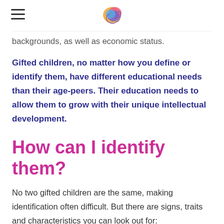[Logo: The Head Office]
backgrounds, as well as economic status.
Gifted children, no matter how you define or identify them, have different educational needs than their age-peers.  Their education needs to allow them to grow with their unique intellectual development.
How can I identify them?
No two gifted children are the same, making identification often difficult. But there are signs, traits and characteristics you can look out for: